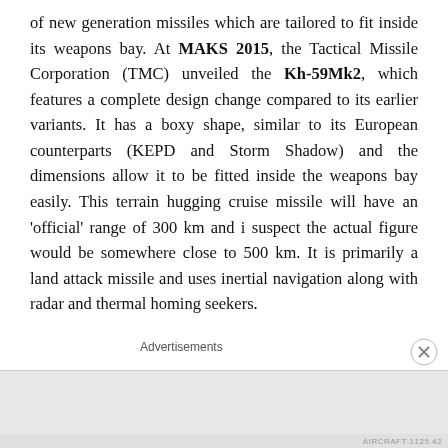of new generation missiles which are tailored to fit inside its weapons bay. At MAKS 2015, the Tactical Missile Corporation (TMC) unveiled the Kh-59Mk2, which features a complete design change compared to its earlier variants. It has a boxy shape, similar to its European counterparts (KEPD and Storm Shadow) and the dimensions allow it to be fitted inside the weapons bay easily. This terrain hugging cruise missile will have an 'official' range of 300 km and i suspect the actual figure would be somewhere close to 500 km. It is primarily a land attack missile and uses inertial navigation along with radar and thermal homing seekers.
Advertisements
[Figure (other): DuckDuckGo advertisement banner: 'Search, browse, and email with more privacy. All in One Free App' with DuckDuckGo logo on dark background]
Advertisements